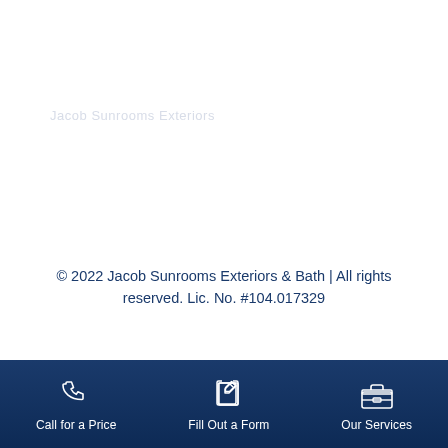© 2022 Jacob Sunrooms Exteriors & Bath | All rights reserved. Lic. No. #104.017329
Call for a Price   Fill Out a Form   Our Services